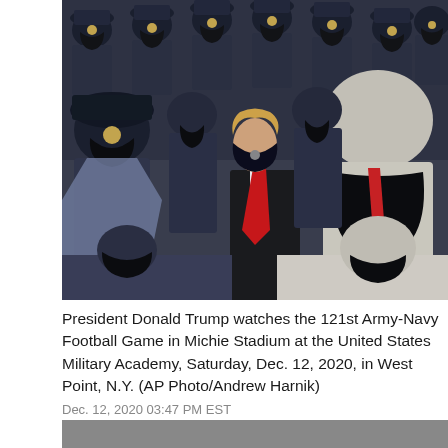[Figure (photo): President Donald Trump wearing a black face mask with a Presidential seal stands among military cadets in dark uniforms and black face masks at Michie Stadium. Trump is wearing a dark suit with a red tie. The image shows a crowd of uniformed personnel.]
President Donald Trump watches the 121st Army-Navy Football Game in Michie Stadium at the United States Military Academy, Saturday, Dec. 12, 2020, in West Point, N.Y. (AP Photo/Andrew Harnik)
Dec. 12, 2020 03:47 PM EST